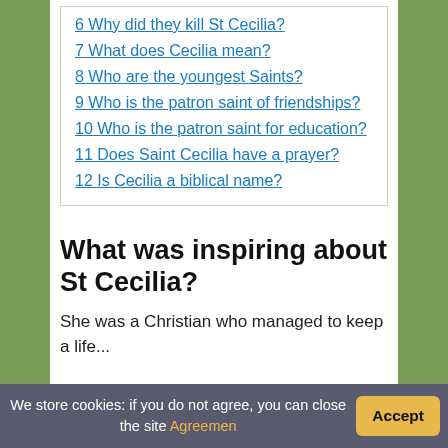6 Why did they kill St Cecilia?
7 What does Cecilia mean?
8 Who are the youngest Saints?
9 Who is the patron saint of friendships?
10 Who is the patron saint for education?
11 Does Saint Cecilia have a prayer?
12 Is Cecilia a biblical name?
What was inspiring about St Cecilia?
She was a Christian who managed to keep a life...
We store cookies: if you do not agree, you can close the site Agreemen